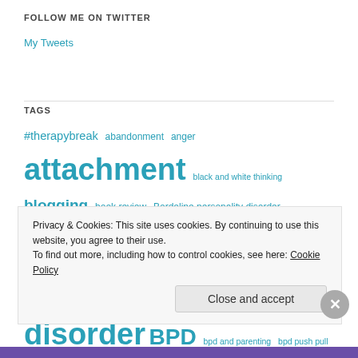FOLLOW ME ON TWITTER
My Tweets
TAGS
#therapybreak abandonment anger attachment black and white thinking blogging book review Bordeline personality disorder borderline personality disorder BPD bpd and parenting bpd push pull bpd symptoms change in therapy communication connection coping with therapy breaks depression dreams dreams in therapy emptiness
Privacy & Cookies: This site uses cookies. By continuing to use this website, you agree to their use.
To find out more, including how to control cookies, see here: Cookie Policy
Close and accept